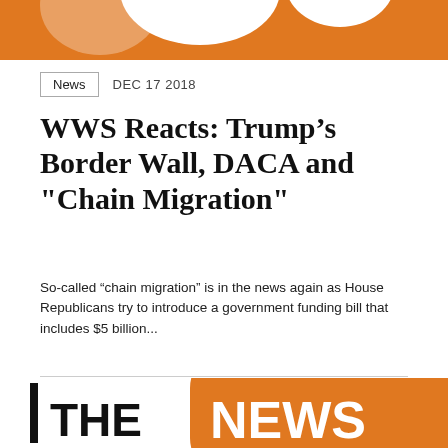[Figure (illustration): Top cropped orange and white graphic with chat bubble shapes]
News   DEC 17 2018
WWS Reacts: Trump’s Border Wall, DACA and "Chain Migration"
So-called “chain migration” is in the news again as House Republicans try to introduce a government funding bill that includes $5 billion...
[Figure (illustration): Bottom cropped orange rounded rectangle logo with large white text NEWS and black text | THE]